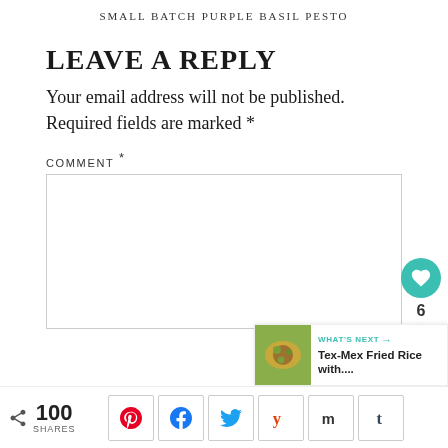SMALL BATCH PURPLE BASIL PESTO
LEAVE A REPLY
Your email address will not be published. Required fields are marked *
COMMENT *
[Figure (other): Empty comment text area input box]
[Figure (infographic): Social share sidebar with heart button (teal), count of 6, and share icon button]
[Figure (infographic): What's Next panel with food image thumbnail and text: Tex-Mex Fried Rice with...]
[Figure (infographic): Bottom share bar with 100 SHARES count and social buttons: Pinterest, Facebook, Twitter, Yummly, email, Tumblr]